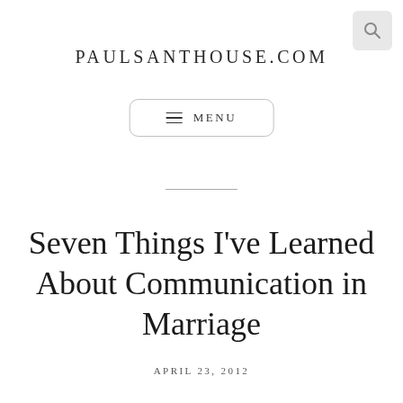PAULSANTHOUSE.COM
≡ MENU
Seven Things I've Learned About Communication in Marriage
APRIL 23, 2012